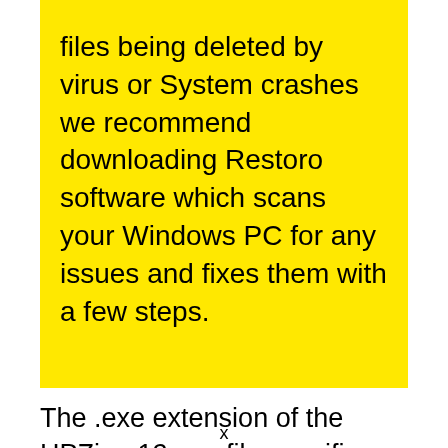files being deleted by virus or System crashes we recommend downloading Restoro software which scans your Windows PC for any issues and fixes them with a few steps.
The .exe extension of the HPZipm12.exe file specifies that it is an executable file for the Windows Operating System like Windows XP, Windows 7, Windows 8, and Windows 10.
x